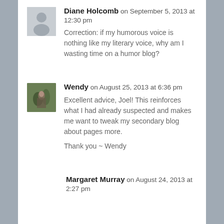Diane Holcomb on September 5, 2013 at 12:30 pm
Correction: if my humorous voice is nothing like my literary voice, why am I wasting time on a humor blog?
Wendy on August 25, 2013 at 6:36 pm
Excellent advice, Joel! This reinforces what I had already suspected and makes me want to tweak my secondary blog about pages more.
Thank you ~ Wendy
Margaret Murray on August 24, 2013 at 2:27 pm